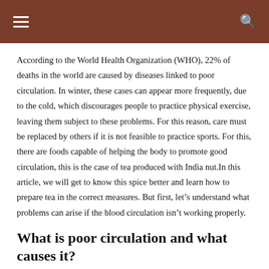≡  🔍
According to the World Health Organization (WHO), 22% of deaths in the world are caused by diseases linked to poor circulation. In winter, these cases can appear more frequently, due to the cold, which discourages people to practice physical exercise, leaving them subject to these problems. For this reason, care must be replaced by others if it is not feasible to practice sports. For this, there are foods capable of helping the body to promote good circulation, this is the case of tea produced with India nut.In this article, we will get to know this spice better and learn how to prepare tea in the correct measures. But first, let's understand what problems can arise if the blood circulation isn't working properly.
What is poor circulation and what causes it?